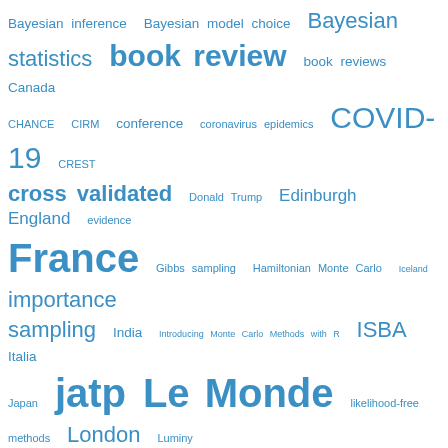[Figure (other): Word cloud / tag cloud of statistical and Bayesian topics in blue, with font size indicating frequency/importance. Terms include: Bayesian inference, Bayesian model choice, Bayesian statistics, book review, book reviews, Canada, CHANCE, CIRM, conference, coronavirus epidemics, COVID-19, CREST, cross validated, Donald Trump, Edinburgh, England, evidence, France, Gibbs sampling, Hamiltonian Monte Carlo, Iceland, importance sampling, India, Introducing Monte Carlo Methods with R, ISBA, Italia, Japan, jatp, Le Monde, likelihood-free methods, London, Luminy, machine learning, Marseille, mathematical puzzle, MCMC, MCMC algorithms, Monte Carlo methods, Monte Carlo Statistical Methods, Nature, nested sampling, Normandy, Paris, R, Royal Statistical Society, science fiction, Scotland, seminar, simulated annealing, simulation, slides]